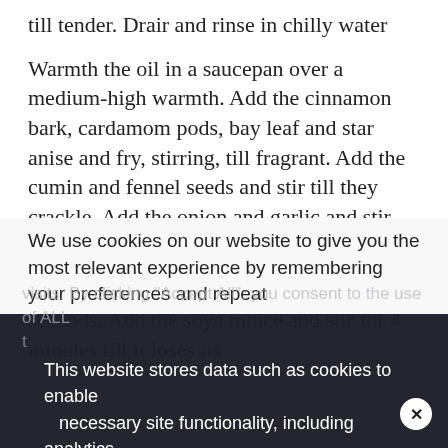till tender. Drain and rinse in chilly water
Warmth the oil in a saucepan over a medium-high warmth. Add the cinnamon bark, cardamom pods, bay leaf and star anise and fry, stirring, till fragrant. Add the cumin and fennel seeds and stir till they crackle. Add the onion and garlic and stir till translucent.
Add the curry powder and stir for 30 seconds. Add the soya mince and stir for 4 minutes till it loses its
We use cookies on our website to give you the most relevant experience by remembering your preferences and repeat visits. By clicking "Accept All", you consent to the use of ALL t... provide a controlled consent.
This website stores data such as cookies to enable necessary site functionality, including analytics, targeting, and personalization. By remaining on this website you indicate your consent Cookie Policy